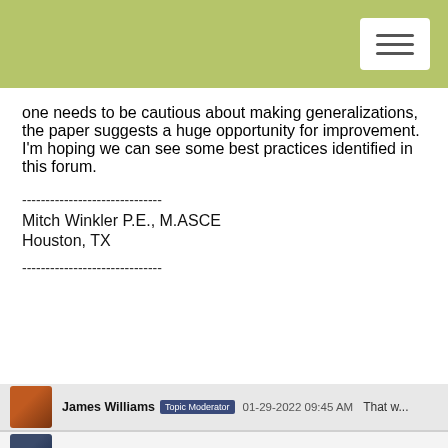one needs to be cautious about making generalizations, the paper suggests a huge opportunity for improvement. I'm hoping we can see some best practices identified in this forum.
------------------------------
Mitch Winkler P.E., M.ASCE
Houston, TX
------------------------------
James Williams  Topic Moderator  01-29-2022 09:45 AM  That w...
William McAnally  01-31-2022 11:24 AM  Thanks for bringi...
Andre Newinski  Topic Moderator  02-05-2022 11:43 AM  shiftin...
Andre Newinski  Topic Moderator  02-05-2022 11:44 AM  Creativ...
Copyright © 1996 - 2019, American Society of Civil Engineers